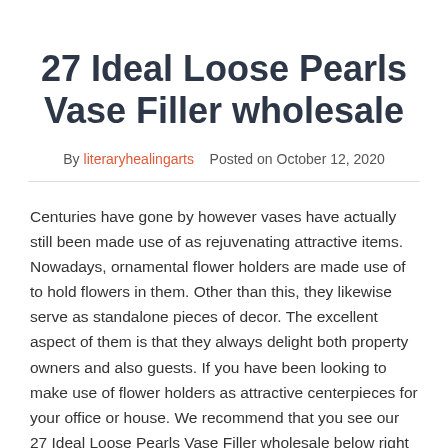27 Ideal Loose Pearls Vase Filler wholesale
By literaryhealingarts   Posted on October 12, 2020
Centuries have gone by however vases have actually still been made use of as rejuvenating attractive items. Nowadays, ornamental flower holders are made use of to hold flowers in them. Other than this, they likewise serve as standalone pieces of decor. The excellent aspect of them is that they always delight both property owners and also guests. If you have been looking to make use of flower holders as attractive centerpieces for your office or house. We recommend that you see our 27 Ideal Loose Pearls Vase Filler wholesale below right here! Every one of these house decor Do It Yourself flower vase ideas has an appealing originality to it. The most effective component of everything is that they